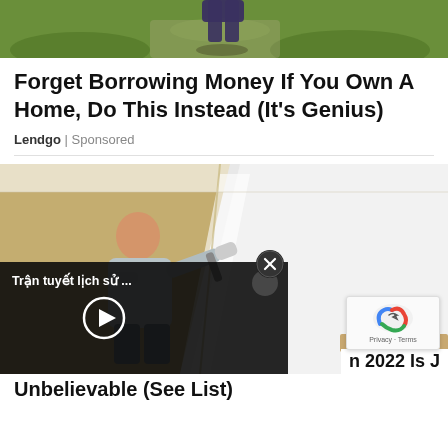[Figure (photo): Top portion of an outdoor photo showing green grass and a person's legs/shorts standing on a path, cropped at top of page]
Forget Borrowing Money If You Own A Home, Do This Instead (It's Genius)
Lendgo | Sponsored
[Figure (photo): A bald man in a gray shirt painting a wall white using a roller, with tan/beige walls partially painted white. An overlay video player shows 'Trận tuyết lịch sử ...' with a play button. A close (X) button appears on the main image. Bottom shows partial text 'n 2022 Is J' and 'Unbelievable (See List)'. A reCAPTCHA badge appears at bottom right.]